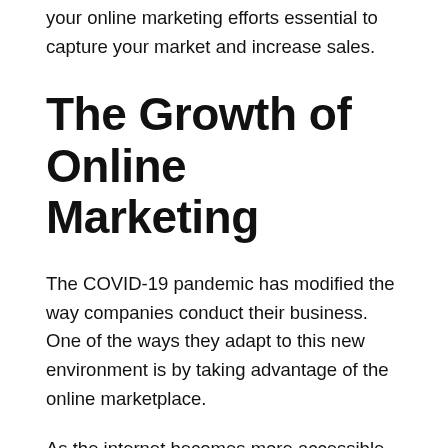your online marketing efforts essential to capture your market and increase sales.
The Growth of Online Marketing
The COVID-19 pandemic has modified the way companies conduct their business. One of the ways they adapt to this new environment is by taking advantage of the online marketplace.
As the internet becomes more accessible worldwide, more businesses utilize the online landscape to reach potential target markets.
Statistics show the increasing competitiveness of online